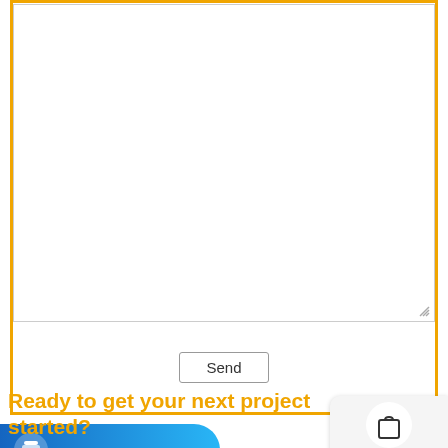[Figure (screenshot): A web form UI element showing a large textarea with an orange border, a Send button below it, a blue gradient pill-shaped button with a logo icon at bottom left, and orange bold text 'Ready to get your next project started?' at the bottom. There is also a reCAPTCHA/Privacy tooltip at the bottom right.]
Ready to get your next project started?